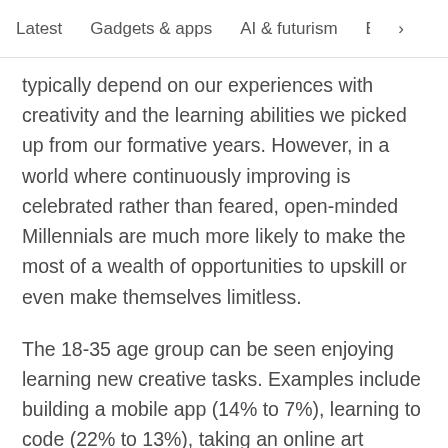Latest   Gadgets & apps   AI & futurism   EVs & mobil  >
typically depend on our experiences with creativity and the learning abilities we picked up from our formative years. However, in a world where continuously improving is celebrated rather than feared, open-minded Millennials are much more likely to make the most of a wealth of opportunities to upskill or even make themselves limitless.
The 18-35 age group can be seen enjoying learning new creative tasks. Examples include building a mobile app (14% to 7%), learning to code (22% to 13%), taking an online art course (21% to 12%), or even learning how to knit (18% to 6%). Sure there is an element of irony that Millennials are preparing for middle-age by learning the lost art of knitting, but